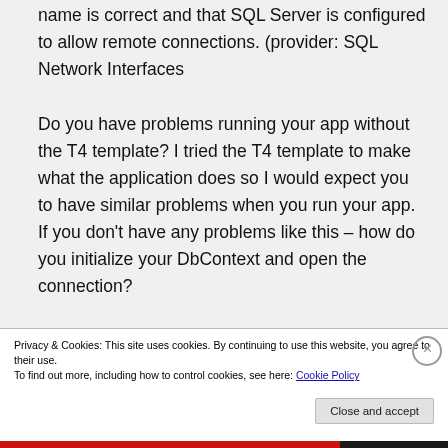name is correct and that SQL Server is configured to allow remote connections. (provider: SQL Network Interfaces Do you have problems running your app without the T4 template? I tried the T4 template to make what the application does so I would expect you to have similar problems when you run your app. If you don't have any problems like this – how do you initialize your DbContext and open the connection?
Privacy & Cookies: This site uses cookies. By continuing to use this website, you agree to their use.
To find out more, including how to control cookies, see here: Cookie Policy